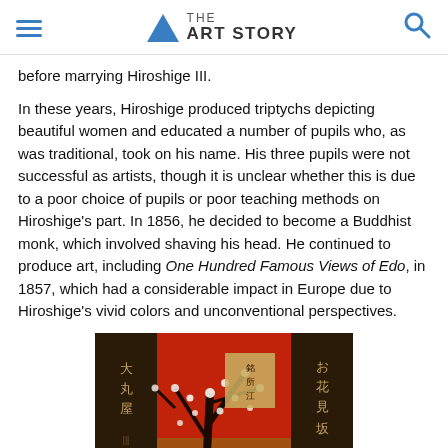THE ART STORY
before marrying Hiroshige III.
In these years, Hiroshige produced triptychs depicting beautiful women and educated a number of pupils who, as was traditional, took on his name. His three pupils were not successful as artists, though it is unclear whether this is due to a poor choice of pupils or poor teaching methods on Hiroshige's part. In 1856, he decided to become a Buddhist monk, which involved shaving his head. He continued to produce art, including One Hundred Famous Views of Edo, in 1857, which had a considerable impact in Europe due to Hiroshige's vivid colors and unconventional perspectives.
[Figure (photo): A Japanese triptych artwork showing red plum blossom branches against a vivid red background with Japanese calligraphy text panels on the sides.]